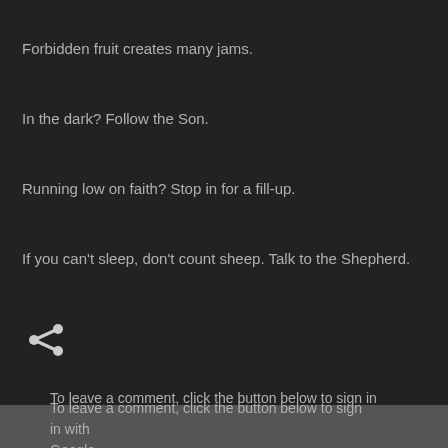Forbidden fruit creates many jams.
In the dark? Follow the Son.
Running low on faith? Stop in for a fill-up.
If you can't sleep, don't count sheep. Talk to the Shepherd.
[Figure (other): Share icon (less-than symbol shaped share button)]
To leave a comment, click the button below to sign in with Google.
SIGN IN WITH GOOGLE